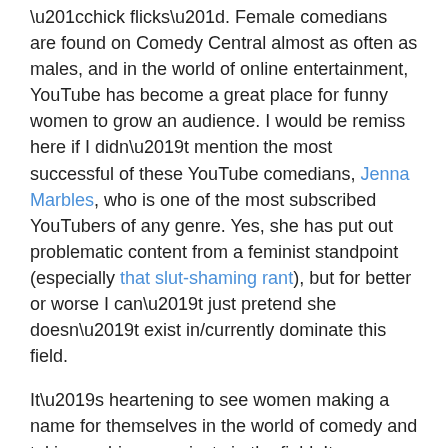“chick flicks”. Female comedians are found on Comedy Central almost as often as males, and in the world of online entertainment, YouTube has become a great place for funny women to grow an audience. I would be remiss here if I didn’t mention the most successful of these YouTube comedians, Jenna Marbles, who is one of the most subscribed YouTubers of any genre. Yes, she has put out problematic content from a feminist standpoint (especially that slut-shaming rant), but for better or worse I can’t just pretend she doesn’t exist in/currently dominate this field.
It’s heartening to see women making a name for themselves in the world of comedy and taking on bigger projects in the field. It means that the public’s perception of women is changing, however slowly, because success in